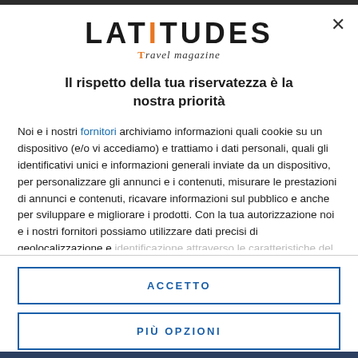[Figure (logo): LATITUDES Travel Magazine logo with orange I and T letters]
Il rispetto della tua riservatezza è la nostra priorità
Noi e i nostri fornitori archiviamo informazioni quali cookie su un dispositivo (e/o vi accediamo) e trattiamo i dati personali, quali gli identificativi unici e informazioni generali inviate da un dispositivo, per personalizzare gli annunci e i contenuti, misurare le prestazioni di annunci e contenuti, ricavare informazioni sul pubblico e anche per sviluppare e migliorare i prodotti. Con la tua autorizzazione noi e i nostri fornitori possiamo utilizzare dati precisi di geolocalizzazione e identificazione attraverso le caratteristiche del dispositivo. Puoi fare clic per
ACCETTO
PIÙ OPZIONI